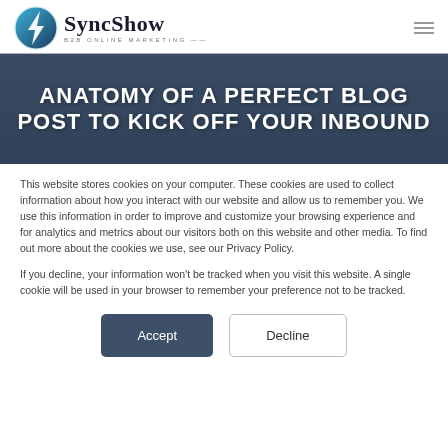SyncShow B2B ONLINE MARKETING
[Figure (illustration): SyncShow logo with circular blue and white lightning bolt icon, and company name in serif font with B2B ONLINE MARKETING subtitle]
ANATOMY OF A PERFECT BLOG POST TO KICK OFF YOUR INBOUND
This website stores cookies on your computer. These cookies are used to collect information about how you interact with our website and allow us to remember you. We use this information in order to improve and customize your browsing experience and for analytics and metrics about our visitors both on this website and other media. To find out more about the cookies we use, see our Privacy Policy.
If you decline, your information won't be tracked when you visit this website. A single cookie will be used in your browser to remember your preference not to be tracked.